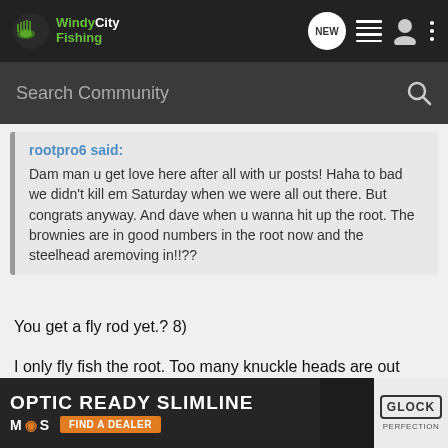Windy City Fishing - navigation bar with NEW, list, user, more icons
Search Community
rootpro6 said:
Dam man u get love here after all with ur posts! Haha to bad we didn't kill em Saturday when we were all out there. But congrats anyway. And dave when u wanna hit up the root. The brownies are in good numbers in the root now and the steelhead aremoving in!!??
You get a fly rod yet.? 8)
I only fly fish the root. Too many knuckle heads are out there, but watch the flow man, I probably wont be there until the shoreline starts to ice up. :lol: I have been slacking on going to wisconsin for some fly fishing lately. I have been tying some flies here and there though. I wanna go for steelies though. But right no[w ...] et me some co[...]
[Figure (screenshot): Advertisement banner for Glock Optic Ready Slimline MOS pistol with Find a Dealer button]